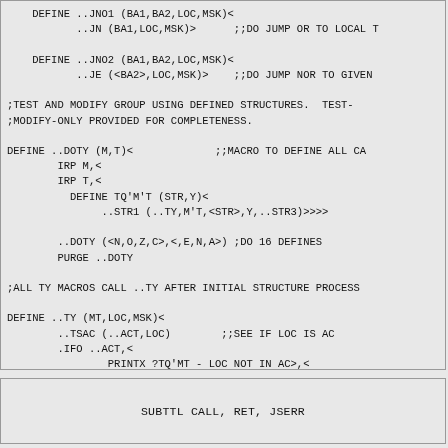DEFINE ..JNO1 (BA1,BA2,LOC,MSK)<
           ..JN (BA1,LOC,MSK)>      ;;DO JUMP OR TO LOCAL T

    DEFINE ..JNO2 (BA1,BA2,LOC,MSK)<
           ..JE (<BA2>,LOC,MSK)>    ;;DO JUMP NOR TO GIVEN 

;TEST AND MODIFY GROUP USING DEFINED STRUCTURES.  TEST-
;MODIFY-ONLY PROVIDED FOR COMPLETENESS.

DEFINE ..DOTY (M,T)<             ;;MACRO TO DEFINE ALL C
        IRP M,<
        IRP T,<
          DEFINE TQ'M'T (STR,Y)<
               ..STR1 (..TY,M'T,<STR>,Y,..STR3)>>>>

        ..DOTY (<N,O,Z,C>,<,E,N,A>) ;DO 16 DEFINES
        PURGE ..DOTY

;ALL TY MACROS CALL ..TY AFTER INITIAL STRUCTURE PROCESS

DEFINE ..TY (MT,LOC,MSK)<
        ..TSAC (..ACT,LOC)        ;;SEE IF LOC IS AC
        .IFO ..ACT,<
                PRINTX ?TQ'MT - LOC NOT IN AC>,<
                TX'MT LOC,MSK>>
SUBTTL CALL, RET, JSERR